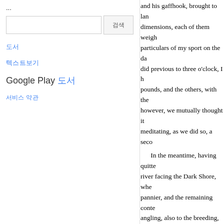...
검색 bar UI
도서
텍스트보기
Google Play 도서
서비스 약관
and his gaffhook, brought to land dimensions, each of them weigh particulars of my sport on the da did previous to three o'clock, I h pounds, and the others, with the however, we mutually thought it meditating, as we did so, a seco

In the meantime, having quitte river facing the Dark Shore, whe pannier, and the remaining conte angling, also to the breeding, gro coincided with my own. We agre that gentleman having the merit, but of proving them by a series o able anglers and most of the fish obstinacy, to be a variety of the d intelligence of old Robert Kerss, along with a very few others, add

I intend not at present to ohtr notwithstanding the recent light that history which, although ope himself, in his well-known work mysteries which surround the ma